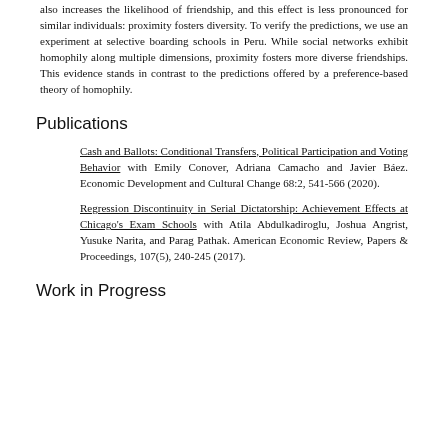also increases the likelihood of friendship, and this effect is less pronounced for similar individuals: proximity fosters diversity. To verify the predictions, we use an experiment at selective boarding schools in Peru. While social networks exhibit homophily along multiple dimensions, proximity fosters more diverse friendships. This evidence stands in contrast to the predictions offered by a preference-based theory of homophily.
Publications
Cash and Ballots: Conditional Transfers, Political Participation and Voting Behavior with Emily Conover, Adriana Camacho and Javier Báez. Economic Development and Cultural Change 68:2, 541-566 (2020).
Regression Discontinuity in Serial Dictatorship: Achievement Effects at Chicago's Exam Schools with Atila Abdulkadiroglu, Joshua Angrist, Yusuke Narita, and Parag Pathak. American Economic Review, Papers & Proceedings, 107(5), 240-245 (2017).
Work in Progress